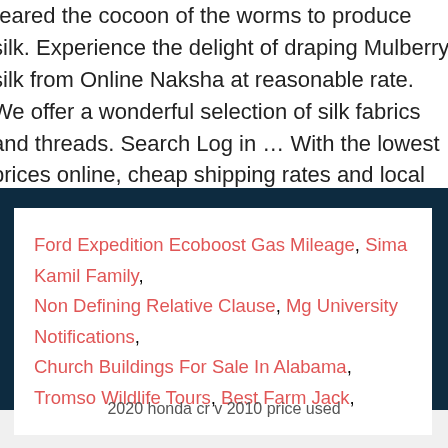reared the cocoon of the worms to produce silk. Experience the delight of draping Mulberry silk from Online Naksha at reasonable rate. We offer a wonderful selection of silk fabrics and threads. Search Log in … With the lowest prices online, cheap shipping rates and local collection options, you can make an even bigger saving.
Ford Expedition Ecoboost Gas Mileage, Sima Kamil Family, Non Defining Relative Clause, Mg University Notifications, Church Buildings For Sale In Alabama, Tromso Wildlife Tours, Best Farm Jack,
2020 honda cr v 2010 price used